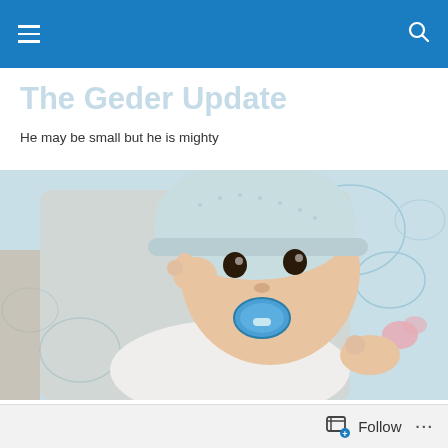navigation bar with hamburger menu and search icon
The Geder Update
He may be small but he is mighty
[Figure (photo): A baby wearing a light blue knit hat, holding a blue pacifier in their mouth, lying on a floral patterned light blue background]
No news has been glorious
Follow ...